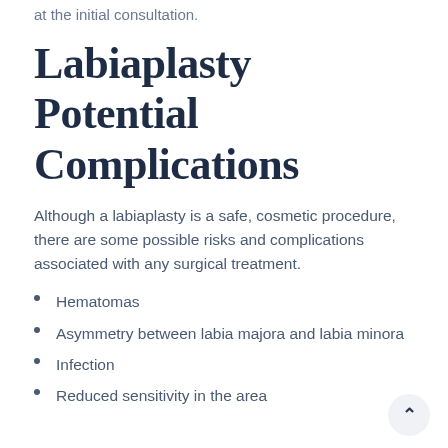at the initial consultation.
Labiaplasty Potential Complications
Although a labiaplasty is a safe, cosmetic procedure, there are some possible risks and complications associated with any surgical treatment.
Hematomas
Asymmetry between labia majora and labia minora
Infection
Reduced sensitivity in the area